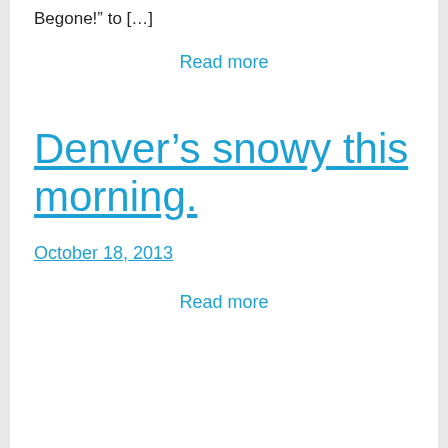Begone!” to […]
Read more
Denver’s snowy this morning.
October 18, 2013
Read more